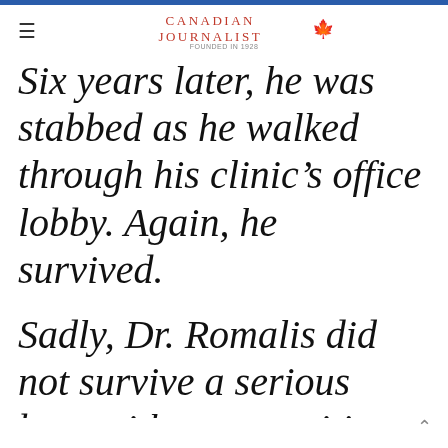Canadian Journalist
Six years later, he was stabbed as he walked through his clinic's office lobby. Again, he survived.
Sadly, Dr. Romalis did not survive a serious bout with pancreatitis earlier this year, and he passed away in January at the age of 76.